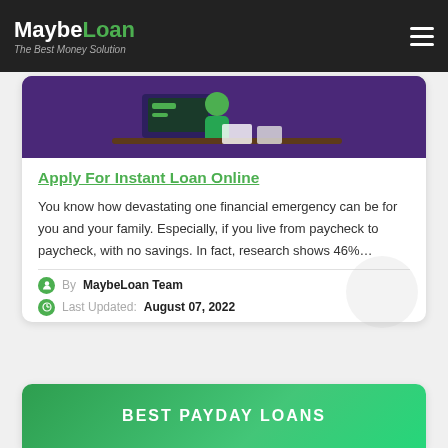MaybeLoan - The Best Money Solution
Apply For Instant Loan Online
You know how devastating one financial emergency can be for you and your family. Especially, if you live from paycheck to paycheck, with no savings. In fact, research shows 46%…
By MaybeLoan Team
Last Updated: August 07, 2022
[Figure (illustration): Illustration of a person at a desk with a monitor showing financial content, purple background]
BEST PAYDAY LOANS